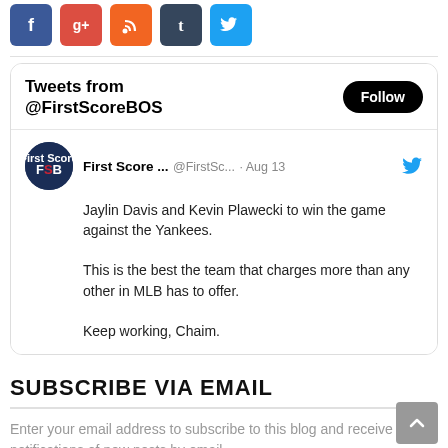[Figure (illustration): Row of social media icons: Facebook (blue), Google+ (red), RSS (orange), Tumblr (dark blue), Twitter (light blue)]
[Figure (screenshot): Twitter widget showing tweets from @FirstScoreBOS with a Follow button, and a tweet from 'First Score ...' (@FirstSc...) dated Aug 13 reading: 'Jaylin Davis and Kevin Plawecki to win the game against the Yankees. This is the best the team that charges more than any other in MLB has to offer. Keep working, Chaim.']
SUBSCRIBE VIA EMAIL
Enter your email address to subscribe to this blog and receive notifications of new posts by email.